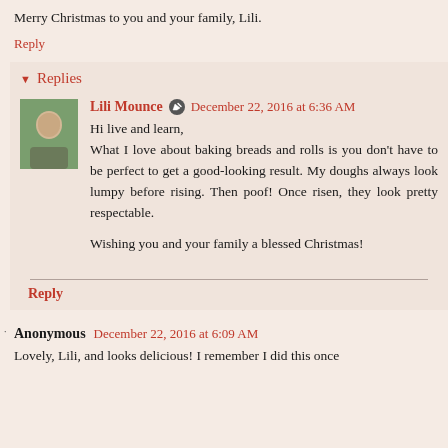Merry Christmas to you and your family, Lili.
Reply
Replies
Lili Mounce  December 22, 2016 at 6:36 AM
Hi live and learn,
What I love about baking breads and rolls is you don't have to be perfect to get a good-looking result. My doughs always look lumpy before rising. Then poof! Once risen, they look pretty respectable.

Wishing you and your family a blessed Christmas!
Reply
Anonymous  December 22, 2016 at 6:09 AM
Lovely, Lili, and looks delicious! I remember I did this once